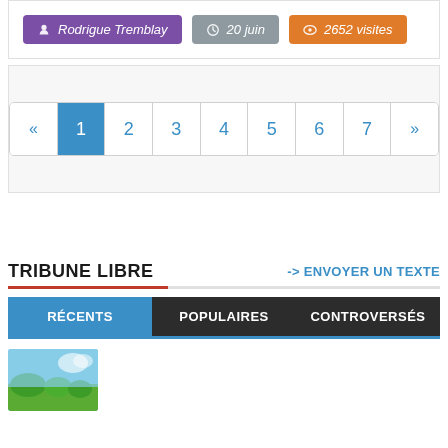Rodrigue Tremblay  ·  20 juin  ·  2652 visites
[Figure (infographic): Pagination bar with pages 1 through 7, page 1 active (blue), with previous and next arrows]
TRIBUNE LIBRE
-> ENVOYER UN TEXTE
RÉCENTS  |  POPULAIRES  |  CONTROVERSÉS
[Figure (photo): Thumbnail photo of nature/outdoors scene]